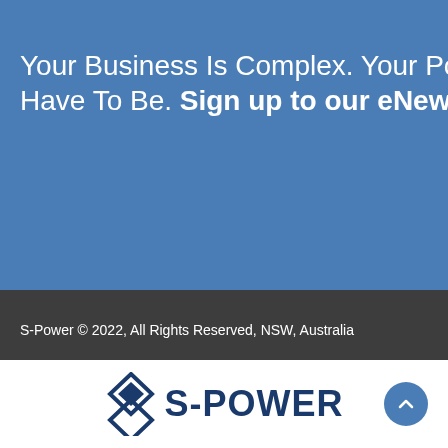Your Business Is Complex. Your Power S Have To Be. Sign up to our eNewsletter
S-Power © 2022, All Rights Reserved, NSW, Australia
Privacy Policy   Terms of Use  |  Home   Products   News   FA
[Figure (logo): S-Power company logo with diamond/arrow icon and S-POWER text in dark blue]